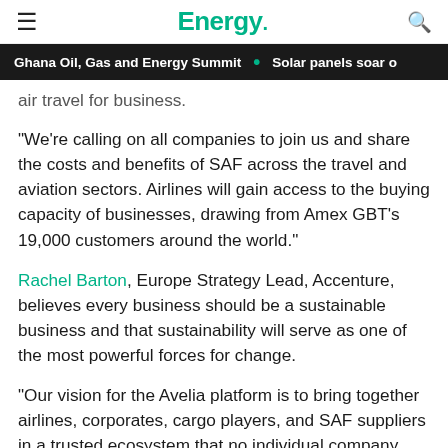Energy. [nav: hamburger menu, logo, search icon]
Ghana Oil, Gas and Energy Summit • Solar panels soar o
air travel for business.
"We're calling on all companies to join us and share the costs and benefits of SAF across the travel and aviation sectors. Airlines will gain access to the buying capacity of businesses, drawing from Amex GBT's 19,000 customers around the world."
Rachel Barton, Europe Strategy Lead, Accenture, believes every business should be a sustainable business and that sustainability will serve as one of the most powerful forces for change.
"Our vision for the Avelia platform is to bring together airlines, corporates, cargo players, and SAF suppliers in a trusted ecosystem that no individual company could build or access on its own," she said. "Blockchain